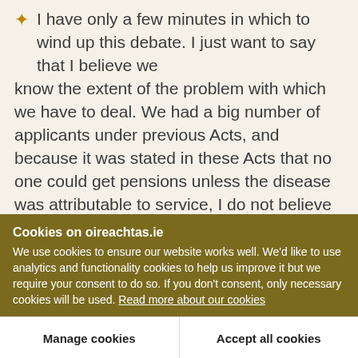I have only a few minutes in which to wind up this debate. I just want to say that I believe we know the extent of the problem with which we have to deal. We had a big number of applicants under previous Acts, and because it was stated in these Acts that no one could get pensions unless the disease was attributable to service, I do not believe that stopped any one from applying. Because it was stated in these Acts that a man must have 80 per cent. disability before getting a pension for disease, I
Cookies on oireachtas.ie
We use cookies to ensure our website works well. We'd like to use analytics and functionality cookies to help us improve it but we require your consent to do so. If you don't consent, only necessary cookies will be used. Read more about our cookies
Manage cookies
Accept all cookies